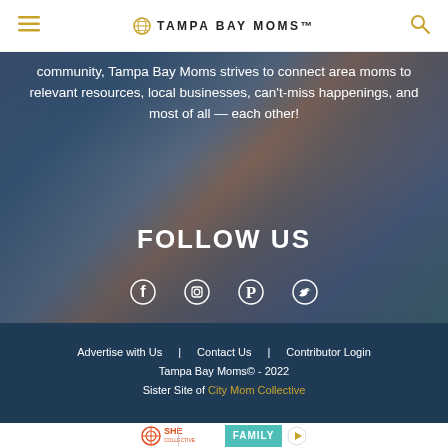TAMPA BAY MOMS™
community, Tampa Bay Moms strives to connect area moms to relevant resources, local businesses, can't-miss happenings, and most of all — each other!
FOLLOW US
[Figure (infographic): Social media icons: Facebook, Instagram, Pinterest, Twitter]
Advertise with Us   Contact Us   Contributor Login
Tampa Bay Moms© - 2022
Sister Site of City Mom Collective
[Figure (logo): SHE COLLECTIVE FAMILY logo advertisement at bottom of page]